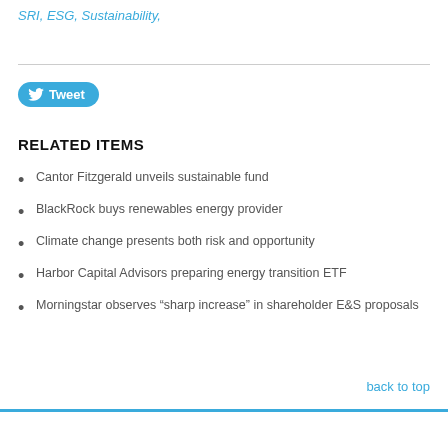SRI, ESG, Sustainability,
[Figure (other): Tweet button with Twitter bird icon]
RELATED ITEMS
Cantor Fitzgerald unveils sustainable fund
BlackRock buys renewables energy provider
Climate change presents both risk and opportunity
Harbor Capital Advisors preparing energy transition ETF
Morningstar observes “sharp increase” in shareholder E&S proposals
back to top